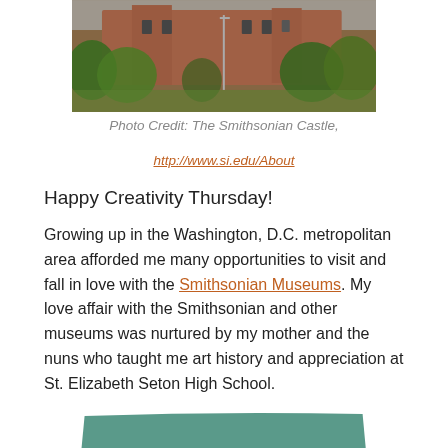[Figure (photo): Partial view of the Smithsonian Castle building with red brick architecture and surrounding green trees]
Photo Credit: The Smithsonian Castle, http://www.si.edu/About
Happy Creativity Thursday!
Growing up in the Washington, D.C. metropolitan area afforded me many opportunities to visit and fall in love with the Smithsonian Museums. My love affair with the Smithsonian and other museums was nurtured by my mother and the nuns who taught me art history and appreciation at St. Elizabeth Seton High School.
[Figure (photo): Bottom portion of a teal/green colored object, partially visible at the bottom of the page]